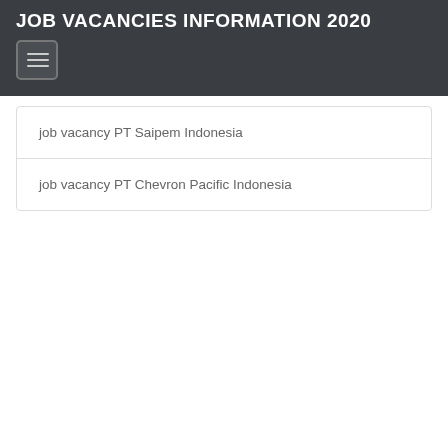JOB VACANCIES INFORMATION 2020
job vacancy PT Saipem Indonesia
job vacancy PT Chevron Pacific Indonesia